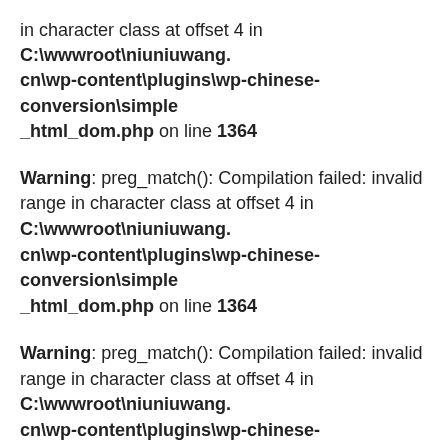in character class at offset 4 in C:\wwwroot\niuniuwang.cn\wp-content\plugins\wp-chinese-conversion\simple_html_dom.php on line 1364
Warning: preg_match(): Compilation failed: invalid range in character class at offset 4 in C:\wwwroot\niuniuwang.cn\wp-content\plugins\wp-chinese-conversion\simple_html_dom.php on line 1364
Warning: preg_match(): Compilation failed: invalid range in character class at offset 4 in C:\wwwroot\niuniuwang.cn\wp-content\plugins\wp-chinese-conversion\simple_html_dom.php on line 1364
Warning: preg_match(): Compilation failed: invalid range in character class at offset 4 in C:\wwwroot\niuniuwang.cn\wp-content\plugins\wp-chinese-conversion\simple_html_dom.php